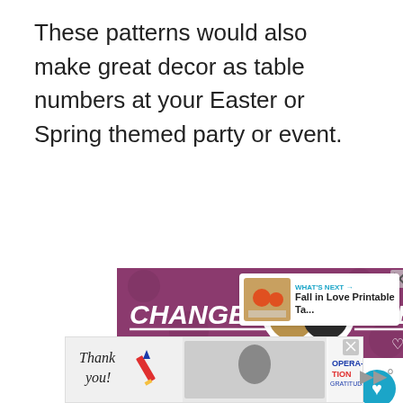These patterns would also make great decor as table numbers at your Easter or Spring themed party or event.
[Figure (infographic): Purple banner advertisement showing two cat faces and text 'CHANGE LIVES' with close button and heart icon]
[Figure (infographic): Social sidebar with heart/like button showing 248 likes and a share button]
[Figure (infographic): What's Next widget showing thumbnail and text 'Fall in Love Printable Ta...']
[Figure (infographic): Bottom banner advertisement for Operation Gratitude with 'Thank you' handwriting and military image]